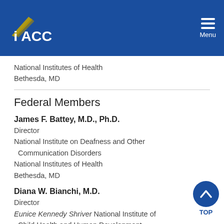IACC Menu
National Institutes of Health
Bethesda, MD
Federal Members
James F. Battey, M.D., Ph.D.
Director
National Institute on Deafness and Other Communication Disorders
National Institutes of Health
Bethesda, MD
Diana W. Bianchi, M.D.
Director
Eunice Kennedy Shriver National Institute of Child Health and Human Development